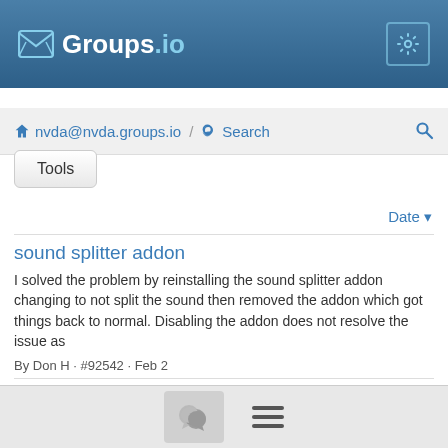Groups.io
nvda@nvda.groups.io / Search
Tools
Date
sound splitter addon
I solved the problem by reinstalling the sound splitter addon changing to not split the sound then removed the addon which got things back to normal. Disabling the addon does not resolve the issue as
By Don H · #92542 · Feb 2
sound splitter addon